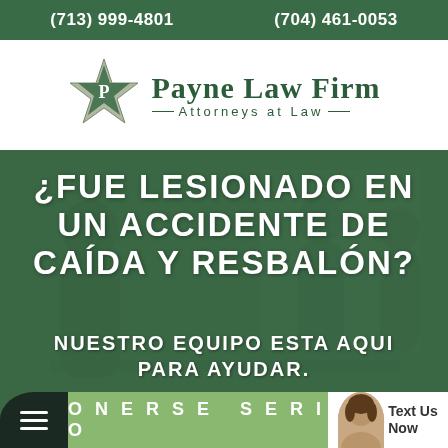(713) 999-4801    (704) 461-0053
[Figure (logo): Payne Law Firm star logo with 'P' letter — silver and green star shape]
Payne Law Firm — Attorneys at Law
[Figure (photo): Background photo of people in a meeting/office setting with green overlay]
¿Fue Lesionado en un Accidente de Caída y Resbalón?
Nuestro Equipo Esta Aqui Para Ayudar.
Onerse Serio
Text Us Now